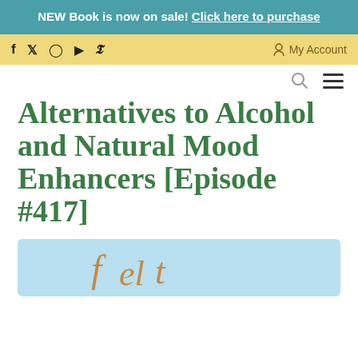NEW Book is now on sale! Click here to purchase
f  y  Instagram  YouTube  Pinterest    My Account
Alternatives to Alcohol and Natural Mood Enhancers [Episode #417]
[Figure (other): Podcast episode thumbnail image with light blue background and decorative script text]